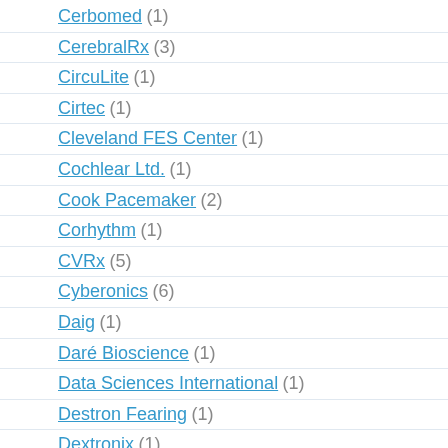Cerbomed (1)
CerebralRx (3)
CircuLite (1)
Cirtec (1)
Cleveland FES Center (1)
Cochlear Ltd. (1)
Cook Pacemaker (2)
Corhythm (1)
CVRx (5)
Cyberonics (6)
Daig (1)
Daré Bioscience (1)
Data Sciences International (1)
Destron Fearing (1)
Dextronix (1)
Digikon (2)
EBR Systems (6)
Edwards (1)
ELA Medical (1)